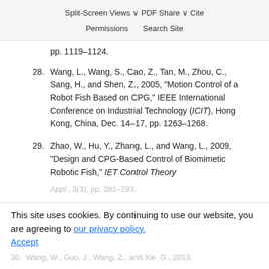Split-Screen  Views  PDF  Share  Cite  Permissions  Search Site
pp. 1119–1124.
28. Wang, L., Wang, S., Cao, Z., Tan, M., Zhou, C., Sang, H., and Shen, Z., 2005, "Motion Control of a Robot Fish Based on CPG," IEEE International Conference on Industrial Technology (ICIT), Hong Kong, China, Dec. 14–17, pp. 1263–1268.
29. Zhao, W., Hu, Y., Zhang, L., and Wang, L., 2009, "Design and CPG-Based Control of Biomimetic Robotic Fish," IET Control Theory Appl., 3(3), pp. 281–293.
30. Wang, W., Guo, J., Wang, Z., and Xie, G., 2013,
This site uses cookies. By continuing to use our website, you are agreeing to our privacy policy. Accept